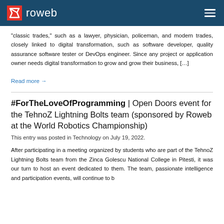roweb
“classic trades,” such as a lawyer, physician, policeman, and modern trades, closely linked to digital transformation, such as software developer, quality assurance software tester or DevOps engineer. Since any project or application owner needs digital transformation to grow and grow their business, […]
Read more →
#ForTheLoveOfProgramming | Open Doors event for the TehnoZ Lightning Bolts team (sponsored by Roweb at the World Robotics Championship)
This entry was posted in Technology on July 19, 2022.
After participating in a meeting organized by students who are part of the TehnoZ Lightning Bolts team from the Zinca Golescu National College in Pitesti, it was our turn to host an event dedicated to them. The team, passionate intelligence and participation events, will continue to b